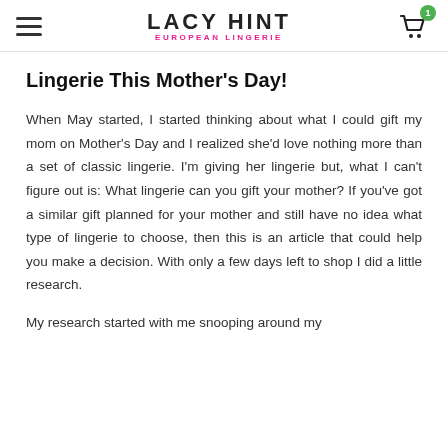LACY HINT EUROPEAN LINGERIE
Lingerie This Mother's Day!
When May started, I started thinking about what I could gift my mom on Mother's Day and I realized she'd love nothing more than a set of classic lingerie. I'm giving her lingerie but, what I can't figure out is: What lingerie can you gift your mother? If you've got a similar gift planned for your mother and still have no idea what type of lingerie to choose, then this is an article that could help you make a decision. With only a few days left to shop I did a little research.
My research started with me snooping around my